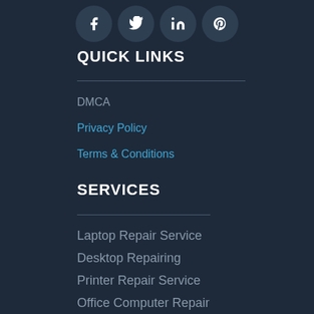[Figure (illustration): Four circular social media icons (Facebook, Twitter, LinkedIn, Pinterest) arranged horizontally at the top center of the page]
QUICK LINKS
DMCA
Privacy Policy
Terms & Conditions
SERVICES
Laptop Repair Service
Desktop Repairing
Printer Repair Service
Office Computer Repair